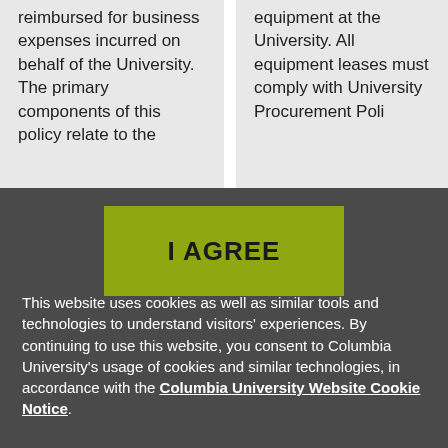reimbursed for business expenses incurred on behalf of the University. The primary components of this policy relate to the...
equipment at the University. All equipment leases must comply with University Procurement Poli...
I AGREE
This website uses cookies as well as similar tools and technologies to understand visitors' experiences. By continuing to use this website, you consent to Columbia University's usage of cookies and similar technologies, in accordance with the Columbia University Website Cookie Notice.